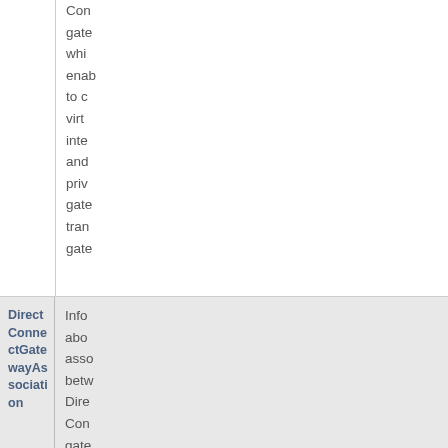DirectConnect gateway, which enables you to connect virtual private interfaces and private gateway transit virtual private gateway interfaces to a Direct Connect gateway, and transit gateway interfaces to a Direct Connect gateway.
DirectConnectGatewayAssociation
Information about an association between a Direct Connect gateway and a virtual private gateway.